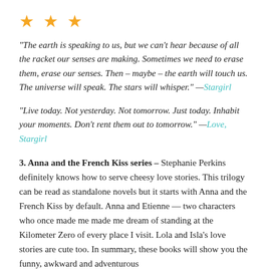[Figure (other): Three orange star icons indicating a rating]
“The earth is speaking to us, but we can’t hear because of all the racket our senses are making. Sometimes we need to erase them, erase our senses. Then – maybe – the earth will touch us. The universe will speak. The stars will whisper.” —Stargirl
“Live today. Not yesterday. Not tomorrow. Just today. Inhabit your moments. Don’t rent them out to tomorrow.” —Love, Stargirl
3. Anna and the French Kiss series – Stephanie Perkins definitely knows how to serve cheesy love stories. This trilogy can be read as standalone novels but it starts with Anna and the French Kiss by default. Anna and Etienne — two characters who once made me made me dream of standing at the Kilometer Zero of every place I visit. Lola and Isla’s love stories are cute too. In summary, these books will show you the funny, awkward and adventurous